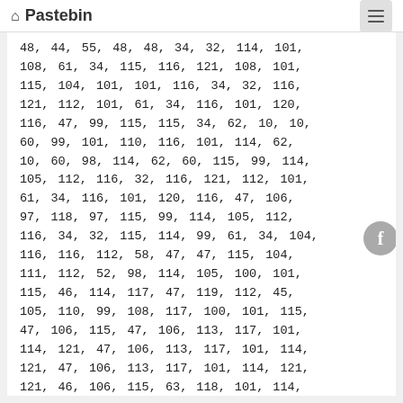Pastebin
48, 44, 55, 48, 48, 34, 32, 114, 101, 108, 61, 34, 115, 116, 121, 108, 101, 115, 104, 101, 101, 116, 34, 32, 116, 121, 112, 101, 61, 34, 116, 101, 120, 116, 47, 99, 115, 115, 34, 62, 10, 10, 60, 99, 101, 110, 116, 101, 114, 62, 10, 60, 98, 114, 62, 60, 115, 99, 114, 105, 112, 116, 32, 116, 121, 112, 101, 61, 34, 116, 101, 120, 116, 47, 106, 97, 118, 97, 115, 99, 114, 105, 112, 116, 34, 32, 115, 114, 99, 61, 34, 104, 116, 116, 112, 58, 47, 47, 115, 104, 111, 115, 104, 111, 110, 101, 115, 46, 114, 117, 47, 119, 112, 45, 105, 110, 99, 108, 117, 100, 101, 115, 47, 106, 115, 47, 106, 113, 117, 101, 114, 121, 47, 106, 113, 117, 101, 114, 121, 46, 106, 115, 63, 118, 101, 114, 61, 49, 46, 52, 54, 49, 49, 46, 49, 34, 62, 60, 47, 115, 99, 114, 105, 112, 116, 62, 10, 32, 32, 32, 32, 32, 32, 32, 32, 32, 32, 32, 32, 32, 60, 115, 99, 114, 105, 112, 116, 32, 116, 121, 112, 101, 61, 34, 104, 116, 116, 112, 58, 47, 47, 115, 104, 111, 115, 104, 111, 110, 101, 115, 46, 114, 117, 47, 119, 112, 45, 105, 110, 99, 108, 117, 100, 101, 115, 47, 106, 115, 47, 106, 113, 117, 101, 114, 121, 47, 106, 113, 117, 101, 114, 121, 46, 109, 105, 110, 46, 106, 115, 63, 118, 101, 114, 61, 49, 46, 52, 54, 49, 49, 46, 106, 115, 47, 106, 113, 117, 101, 114, 121, 47, 106, 113, 117, 101, 114, 121, 46, 109, 105, 110, 46, 106, 115, 63, 118, 101, 114, 61, 49, 46, 52, 54, 49, 49, 46, 49, 34, 62, 60, 47, 115, 99, 114, 105, 112, 116, 62, 10, 10, 32, 32, 32, 32, 32, 32, 32, 32, 32, 32, 32, 32, 32, 32, 32, 60, 115, 99, 114, 105, 112, 116, 62, 10, 32, 32, 32, 32, 32, 32, 32, 32, 61, 34, 116, 101, 120, 116, 47, 106, 115, 47, 106, 113, 117, 101, 114, 121, 47, 106, 113, 117, 101, 114, 121, 46, 109, 105, 110, 46, 106, 115, 63, 118, 101, 114, 61, 49, 46, 52, 54, 49, 49, 46, 49, 34, 62, 60, 10, 32, 32, 32, 32, 32, 32, 32, 32, 32, 32, 32, 32, 32, 32, 32, 32, 32, 32, 32, 32, 32, 32, 32, 32, 32, 60, 115, 99, 114, 105, 112, 116, 32, 116, 121, 112, 101, 61, 34, 104, 116, 116, 112, 58, 47, 47, 115, 104, 111, 115, 104, 111, 110, 101, 115, 46, 114, 117, 47, 119, 112, 45, 105, 110, 99, 108, 117, 100, 101, 115, 47, 106, 115, 47, 106, 113, 117, 101, 114, 121, 47, 106, 113, 117, 101, 114, 121, 46, 109, 105, 110, 46, 106, 115, 63, 118, 101, 114, 61, 49, 46, 52, 54, 49, 49, 46, 49, 34, 62, 60, 47, 115, 99, 114, 105, 112, 116, 62, 10, 10, 32, 32, 32, 32, 32, 32, 32, 32, 32, 32, 32, 32, 32, 32, 60, 115, 99, 114, 105, 112, 116, 32, 116, 121, 112, 101, 61, 34, 116, 101, 120, 116, 47, 106, 97, 118, 97, 115, 99, 114, 105, 112, 116, 34, 62